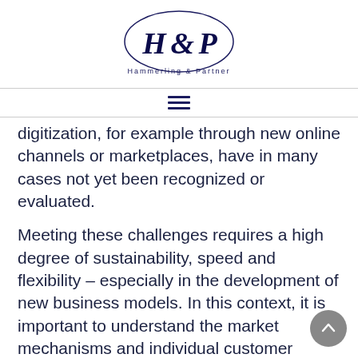[Figure (logo): Hammerling & Partner logo: oval border with stylized H&P monogram in dark navy, with 'Hammerling & Partner' text below]
digitization, for example through new online channels or marketplaces, have in many cases not yet been recognized or evaluated.
Meeting these challenges requires a high degree of sustainability, speed and flexibility – especially in the development of new business models. In this context, it is important to understand the market mechanisms and individual customer